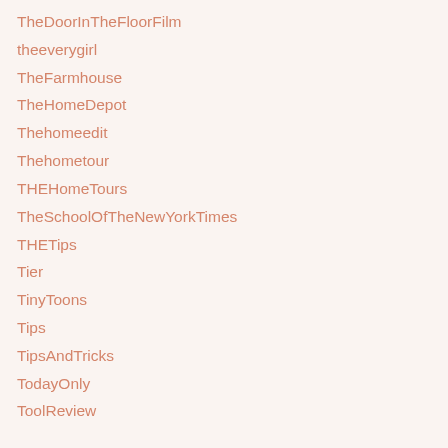TheDoorInTheFloorFilm
theeverygirl
TheFarmhouse
TheHomeDepot
Thehomeedit
Thehometour
THEHomeTours
TheSchoolOfTheNewYorkTimes
THETips
Tier
TinyToons
Tips
TipsAndTricks
TodayOnly
ToolReview